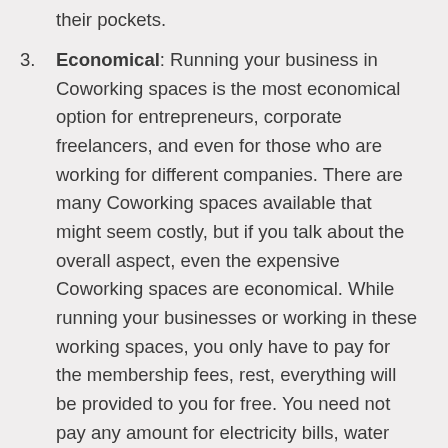their pockets.
Economical: Running your business in Coworking spaces is the most economical option for entrepreneurs, corporate freelancers, and even for those who are working for different companies. There are many Coworking spaces available that might seem costly, but if you talk about the overall aspect, even the expensive Coworking spaces are economical. While running your businesses or working in these working spaces, you only have to pay for the membership fees, rest, everything will be provided to you for free. You need not pay any amount for electricity bills, water bills, and you also have access to high speed and unlimited internet connection. You have all the facilities at your disposal, including photocopy machines, scanners, fax, free parking facilities, and whatnot. You get these things from the single time payment that you make while